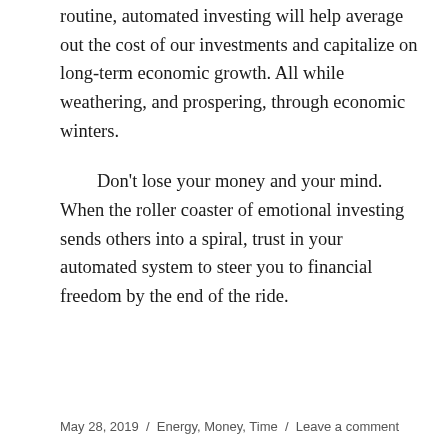routine, automated investing will help average out the cost of our investments and capitalize on long-term economic growth. All while weathering, and prospering, through economic winters.
Don't lose your money and your mind. When the roller coaster of emotional investing sends others into a spiral, trust in your automated system to steer you to financial freedom by the end of the ride.
May 28, 2019  /  Energy, Money, Time  /  Leave a comment